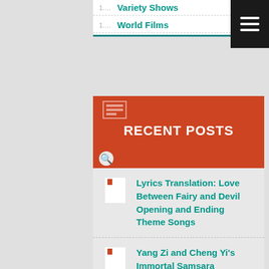Variety Shows
World Films
RECENT POSTS
Lyrics Translation: Love Between Fairy and Devil Opening and Ending Theme Songs
Yang Zi and Cheng Yi’s Immortal Samsara suddenly drops like a hot potato today!
First Posters with Yang Mi and Gong Jun in Fox Spirit Matchmaker: Yue Hong
Ren Jia Lun and Song Zu Er begin filming for The Demon Hunter’s